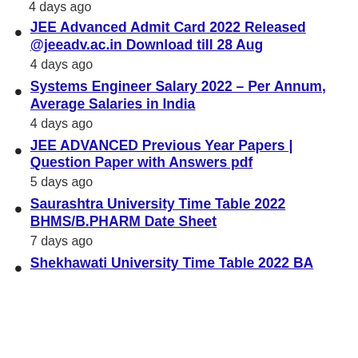4 days ago
JEE Advanced Admit Card 2022 Released @jeeadv.ac.in Download till 28 Aug
4 days ago
Systems Engineer Salary 2022 – Per Annum, Average Salaries in India
4 days ago
JEE ADVANCED Previous Year Papers | Question Paper with Answers pdf
5 days ago
Saurashtra University Time Table 2022 BHMS/B.PHARM Date Sheet
7 days ago
Shekhawati University Time Table 2022 BA